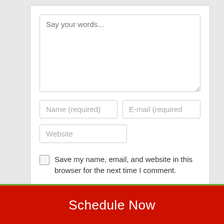[Figure (screenshot): A web comment form with textarea placeholder 'Say your words...', Name (required) and E-mail (required) input fields, Website input field, a save checkbox with label, and a Post Comment button]
Save my name, email, and website in this browser for the next time I comment.
Schedule Now